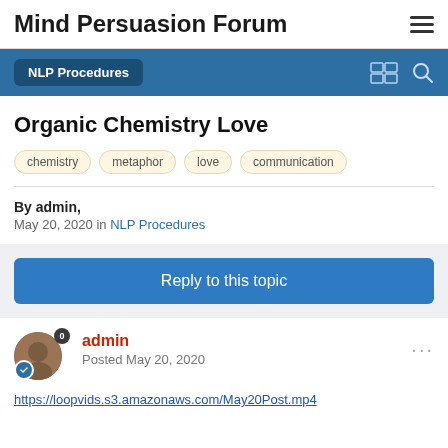Mind Persuasion Forum
NLP Procedures
Organic Chemistry Love
chemistry
metaphor
love
communication
By admin,
May 20, 2020 in NLP Procedures
Reply to this topic
admin
Posted May 20, 2020
https://loopvids.s3.amazonaws.com/May20Post.mp4